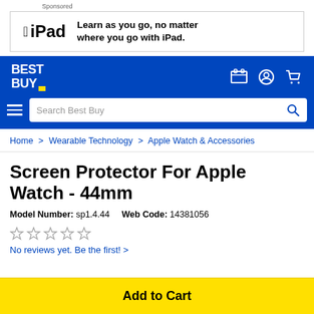[Figure (screenshot): Sponsored Apple iPad advertisement banner: Apple logo, 'iPad' text, 'Learn as you go, no matter where you go with iPad.']
[Figure (logo): Best Buy logo in white on blue navigation bar with store, account, and cart icons]
Search Best Buy
Home > Wearable Technology > Apple Watch & Accessories
Screen Protector For Apple Watch - 44mm
Model Number: sp1.4.44   Web Code: 14381056
[Figure (other): Five empty star rating icons]
No reviews yet. Be the first! >
Add to Cart